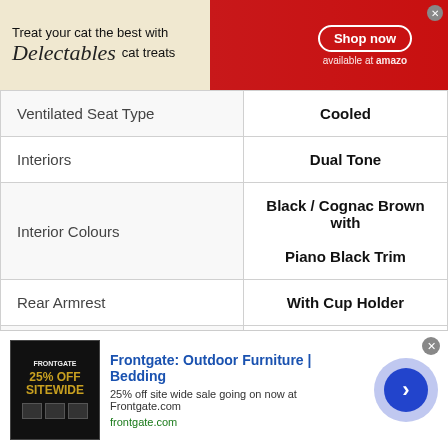[Figure (other): Top advertisement banner: Delectables cat treats ad with red background, cat photo, Squeeze Up product, Shop now button, available at Amazon]
| Feature | Value |
| --- | --- |
| Ventilated Seat Type | Cooled |
| Interiors | Dual Tone |
| Interior Colours | Black / Cognac Brown with Piano Black Trim |
| Rear Armrest | With Cup Holder |
| Folding Rear Seat | Partial |
| Split Third Row Seat | 50:50 split |
[Figure (other): Bottom advertisement banner: Frontgate Outdoor Furniture Bedding ad, 25% off sitewide sale, frontgate.com, with arrow CTA button]